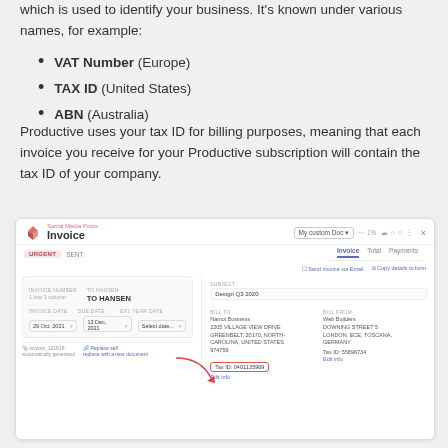which is used to identify your business. It's known under various names, for example:
VAT Number (Europe)
TAX ID (United States)
ABN (Australia)
Productive uses your tax ID for billing purposes, meaning that each invoice you receive for your Productive subscription will contain the tax ID of your company.
[Figure (screenshot): Screenshot of Productive invoice interface showing an invoice for Social Media Posts with URGENT/SENT badges, tabs for Invoice/Total/Payments, fields for invoice number, TO HANSEN, invoice date (29 Oct 2021), due date (13 Dec 2021), subject (Design Q3 2020), bill to (Namoi Business, 2205 Village View Drive, Greenbelt, 20170, North Carolina, United States 974759), bill from (Web Builders, Downing Street 5, London, ECE, Toscana, Germany), with Tax ID: 0401135969 highlighted in a red box and arrow pointing to it, Tax ID: 55896734 on the right side.]